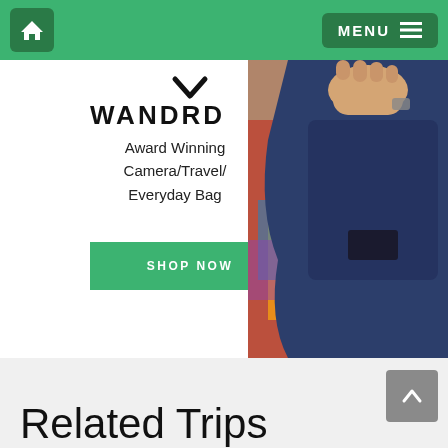Home | MENU
[Figure (photo): WANDRD bag advertisement showing a navy blue camera/travel bag being held open, with colorful textile visible. Text: WANDRD Award Winning Camera/Travel/Everyday Bag. Green SHOP NOW button.]
Related Trips